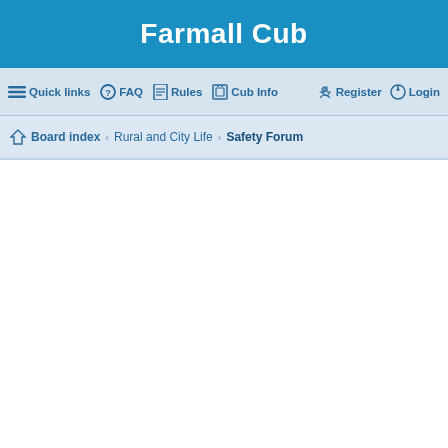Farmall Cub
Quick links  FAQ  Rules  Cub Info  Register  Login
Board index › Rural and City Life › Safety Forum